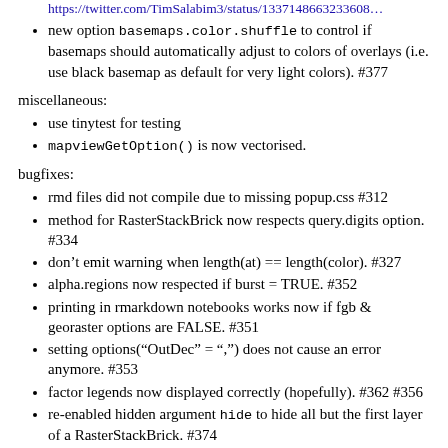https://twitter.com/TimSalabim3/status/1337148663233608...
new option basemaps.color.shuffle to control if basemaps should automatically adjust to colors of overlays (i.e. use black basemap as default for very light colors). #377
miscellaneous:
use tinytest for testing
mapviewGetOption() is now vectorised.
bugfixes:
rmd files did not compile due to missing popup.css #312
method for RasterStackBrick now respects query.digits option. #334
don’t emit warning when length(at) == length(color). #327
alpha.regions now respected if burst = TRUE. #352
printing in rmarkdown notebooks works now if fgb & georaster options are FALSE. #351
setting options(“OutDec” = “,”) does not cause an error anymore. #353
factor legends now displayed correctly (hopefully). #362 #356
re-enabled hidden argument hide to hide all but the first layer of a RasterStackBrick. #374
custom layer names now respected when rendering lists (if